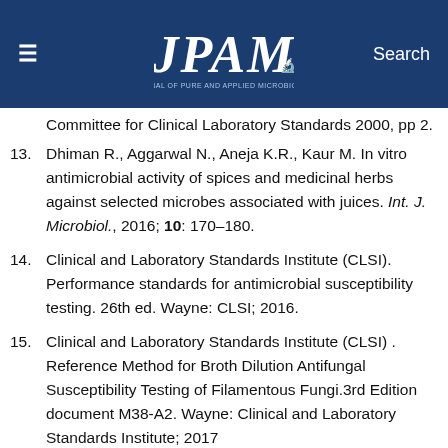JPAM Journal of Pure and Applied Microbiology | Search
Committee for Clinical Laboratory Standards 2000, pp 2.
13. Dhiman R., Aggarwal N., Aneja K.R., Kaur M. In vitro antimicrobial activity of spices and medicinal herbs against selected microbes associated with juices. Int. J. Microbiol., 2016; 10: 170–180.
14. Clinical and Laboratory Standards Institute (CLSI). Performance standards for antimicrobial susceptibility testing. 26th ed. Wayne: CLSI; 2016.
15. Clinical and Laboratory Standards Institute (CLSI) . Reference Method for Broth Dilution Antifungal Susceptibility Testing of Filamentous Fungi.3rd Edition document M38-A2. Wayne: Clinical and Laboratory Standards Institute; 2017